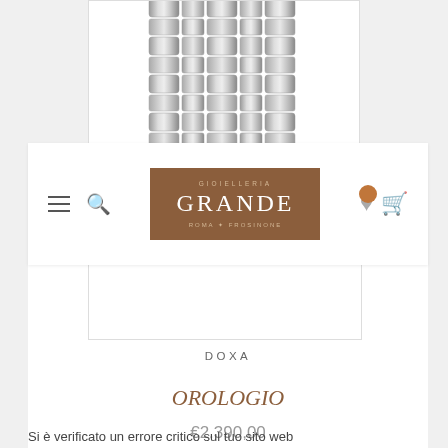[Figure (photo): Top portion of a metal watch bracelet/strap shown in grayscale, viewed from above, partially cropped at top of page inside a white bordered box]
[Figure (logo): Gioielleria Grande logo on brown/tan background. Top text: GIOIELLERIA in small caps. Middle: GRANDE in large serif letters. Bottom: ROMA + FROSINONE in small caps]
DOXA
OROLOGIO
€2.390,00
Si è verificato un errore critico sul tuo sito web